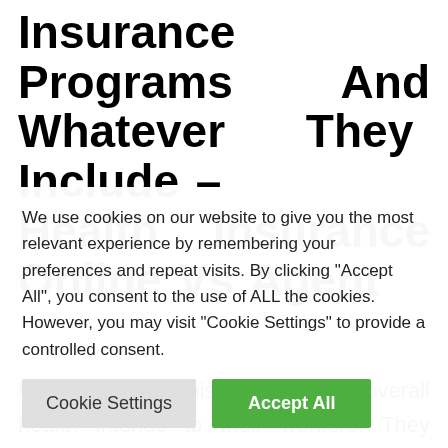Insurance Programs And Whatever They Include – Health Insurance Online Vs Agent
Numerous organisations offer overall health intends to their workers. They work together with insurance firms to develop an idea that works well for that staff and add other programs. You can get individual health insurance
We use cookies on our website to give you the most relevant experience by remembering your preferences and repeat visits. By clicking "Accept All", you consent to the use of ALL the cookies. However, you may visit "Cookie Settings" to provide a controlled consent.